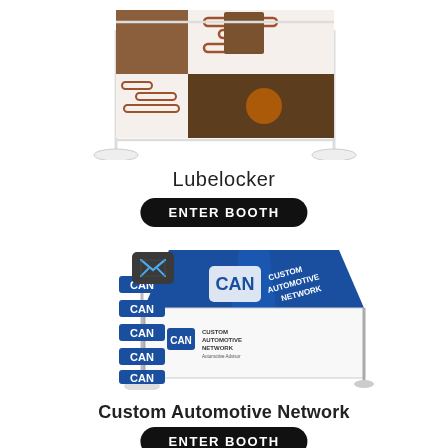[Figure (illustration): Lubelocker trade show booth with a large banner display showing copper/brown geometric patterns on a white frame with base stands.]
Lubelocker
ENTER BOOTH
[Figure (illustration): Custom Automotive Network (CAN) trade show booth showing a blue canopy tent with CAN logo, a tall banner stand with repeated CAN logos, and an email/envelope icon button.]
Custom Automotive Network
ENTER BOOTH